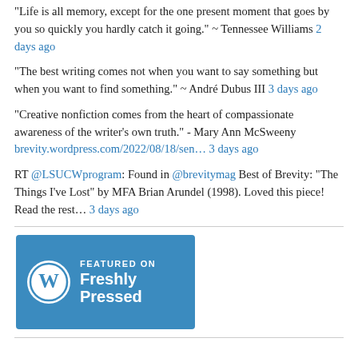"Life is all memory, except for the one present moment that goes by you so quickly you hardly catch it going." ~ Tennessee Williams 2 days ago
"The best writing comes not when you want to say something but when you want to find something." ~ André Dubus III 3 days ago
"Creative nonfiction comes from the heart of compassionate awareness of the writer's own truth." - Mary Ann McSweeny brevity.wordpress.com/2022/08/18/sen… 3 days ago
RT @LSUCWprogram: Found in @brevitymag Best of Brevity: "The Things I've Lost" by MFA Brian Arundel (1998). Loved this piece! Read the rest… 3 days ago
[Figure (logo): WordPress Featured on Freshly Pressed badge with blue background, WordPress logo circle icon on left, text FEATURED ON and Freshly Pressed on right in white]